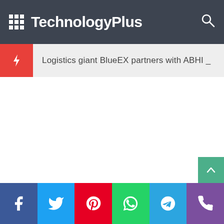TechnologyPlus
Logistics giant BlueEX partners with ABHI _
Facebook | Twitter | Pinterest | WhatsApp | Telegram | Phone